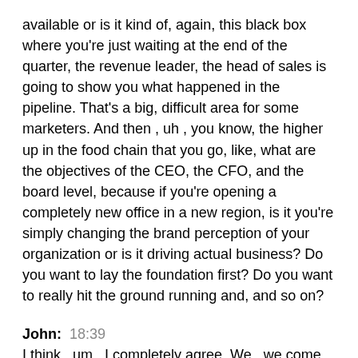available or is it kind of, again, this black box where you're just waiting at the end of the quarter, the revenue leader, the head of sales is going to show you what happened in the pipeline. That's a big, difficult area for some marketers. And then , uh , you know, the higher up in the food chain that you go, like, what are the objectives of the CEO, the CFO, and the board level, because if you're opening a completely new office in a new region, is it you're simply changing the brand perception of your organization or is it driving actual business? Do you want to lay the foundation first? Do you want to really hit the ground running and, and so on?
John: 18:39 I think , um , I completely agree. We , we come across, I think a lot of those discussions and often to start for marketers to start thinking about their objectives as a revenue piece comes